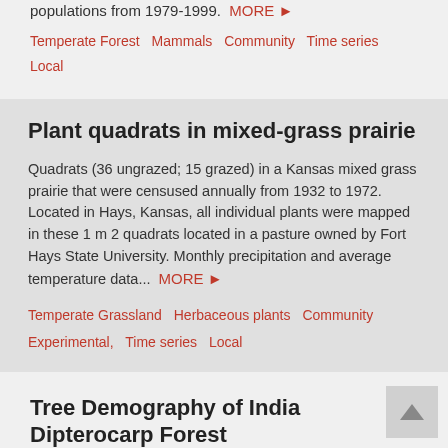populations from 1979-1999. MORE ▶
Temperate Forest   Mammals   Community   Time series   Local
Plant quadrats in mixed-grass prairie
Quadrats (36 ungrazed; 15 grazed) in a Kansas mixed grass prairie that were censused annually from 1932 to 1972. Located in Hays, Kansas, all individual plants were mapped in these 1 m 2 quadrats located in a pasture owned by Fort Hays State University. Monthly precipitation and average temperature data... MORE ▶
Temperate Grassland   Herbaceous plants   Community   Experimental,  Time series   Local
Tree Demography of India Dipterocarp Forest